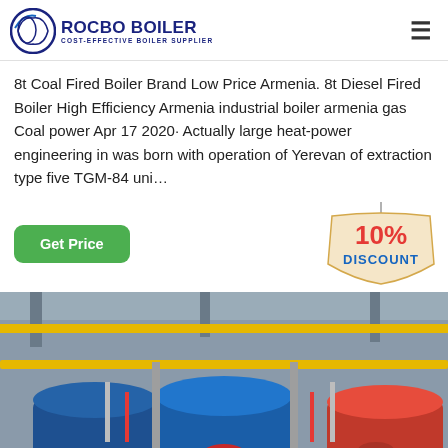ROCBO BOILER - COST-EFFECTIVE BOILER SUPPLIER
8t Coal Fired Boiler Brand Low Price Armenia. 8t Diesel Fired Boiler High Efficiency Armenia industrial boiler armenia gas Coal power Apr 17 2020· Actually large heat-power engineering in was born with operation of Yerevan of extraction type five TGM-84 uni…
[Figure (other): Industrial boiler room with three large cylindrical boilers (blue and red), yellow piping overhead, red and silver pipes, and control panels on the floor.]
[Figure (infographic): 10% DISCOUNT badge graphic with red text on a yellow/beige hanging sign shape.]